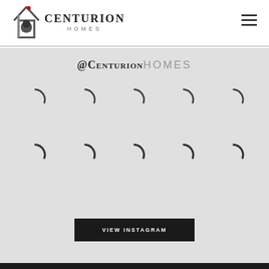[Figure (logo): Centurion Homes logo with house outline and Roman centurion helmet icon, text reads CENTURION HOMES]
@CenturionHOMES
[Figure (other): Grid of 10 loading spinner arcs (2 rows of 5) representing Instagram image placeholders still loading]
VIEW INSTAGRAM